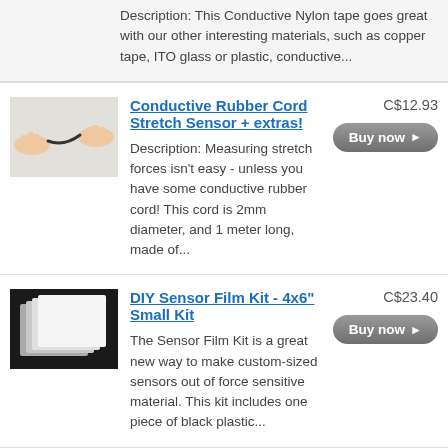Description: This Conductive Nylon tape goes great with our other interesting materials, such as copper tape, ITO glass or plastic, conductive...
[Figure (photo): Photo of conductive rubber cord being stretched by hands]
Conductive Rubber Cord Stretch Sensor + extras!
C$12.93
Buy now ▶
Description: Measuring stretch forces isn't easy - unless you have some conductive rubber cord! This cord is 2mm diameter, and 1 meter long, made of...
[Figure (photo): Photo of DIY Sensor Film Kit showing multiple sheets of film material]
DIY Sensor Film Kit - 4x6" Small Kit
C$23.40
Buy now ▶
The Sensor Film Kit is a great new way to make custom-sized sensors out of force sensitive material. This kit includes one piece of black plastic...
[Figure (photo): Photo of EeonTex High-Conductivity Heater Fabric showing dark fabric with components]
EeonTex High-Conductivity Heater Fabric - NW170-PI-20
C$20.15
Buy now ▶
Description 🔥High-conductive heating fabrics are so hot right now! Literally! This